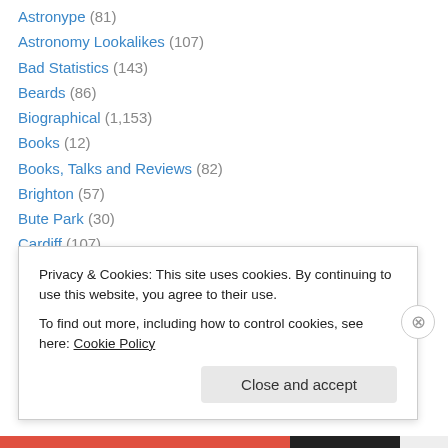Astronype (81)
Astronomy Lookalikes (107)
Bad Statistics (143)
Beards (86)
Biographical (1,153)
Books (12)
Books, Talks and Reviews (82)
Brighton (57)
Bute Park (30)
Cardiff (107)
Charlie Hebdo (1)
Columbo (37)
Cosmic Anomalies (21)
Covid-19 (203)
Privacy & Cookies: This site uses cookies. By continuing to use this website, you agree to their use.
To find out more, including how to control cookies, see here: Cookie Policy